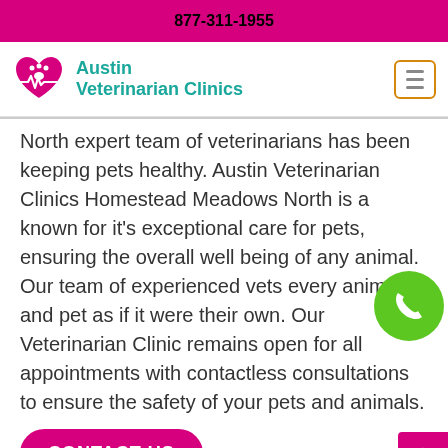877-311-1955
Austin Veterinarian Clinics
North expert team of veterinarians has been keeping pets healthy. Austin Veterinarian Clinics Homestead Meadows North is a known for it's exceptional care for pets, ensuring the overall well being of any animal. Our team of experienced vets every animal and pet as if it were their own. Our Veterinarian Clinic remains open for all appointments with contactless consultations to ensure the safety of your pets and animals.
CONTACT US